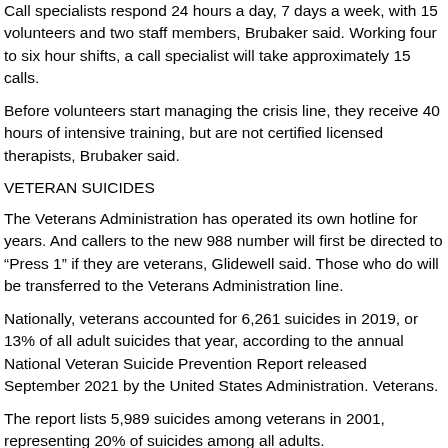Call specialists respond 24 hours a day, 7 days a week, with 15 volunteers and two staff members, Brubaker said. Working four to six hour shifts, a call specialist will take approximately 15 calls.
Before volunteers start managing the crisis line, they receive 40 hours of intensive training, but are not certified licensed therapists, Brubaker said.
VETERAN SUICIDES
The Veterans Administration has operated its own hotline for years. And callers to the new 988 number will first be directed to “Press 1” if they are veterans, Glidewell said. Those who do will be transferred to the Veterans Administration line.
Nationally, veterans accounted for 6,261 suicides in 2019, or 13% of all adult suicides that year, according to the annual National Veteran Suicide Prevention Report released September 2021 by the United States Administration. Veterans.
The report lists 5,989 suicides among veterans in 2001, representing 20% of suicides among all adults.